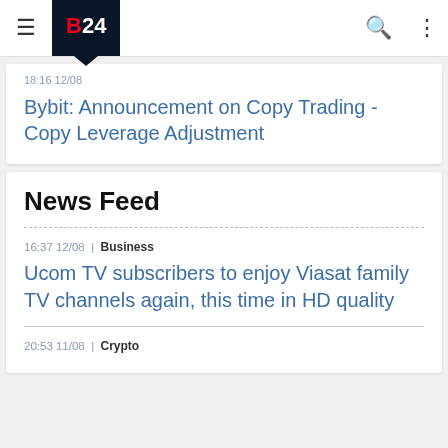B24 navigation bar
Bybit: Announcement on Copy Trading - Copy Leverage Adjustment
News Feed
16:37 12/08 | Business
Ucom TV subscribers to enjoy Viasat family TV channels again, this time in HD quality
20:53 11/08 | Crypto